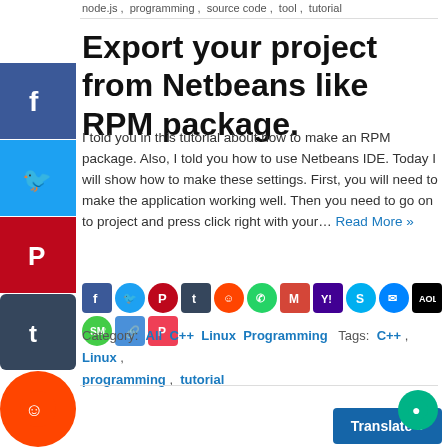node.js ,  programming ,  source code ,  tool ,  tutorial
Export your project from Netbeans like RPM package.
I told you in this tutorial about how to make an RPM package. Also, I told you how to use Netbeans IDE. Today I will show how to make these settings. First, you will need to make the application working well. Then you need to go on to project and press click right with your… Read More »
[Figure (infographic): Social share icon row: Facebook, Twitter, Pinterest, Tumblr, Reddit, WhatsApp, Gmail, Yahoo, Skype, Messenger, AOL, SMS, Link, Pocket]
Category: All  C++  Linux  Programming  Tags: C++ ,  Linux ,  programming ,  tutorial